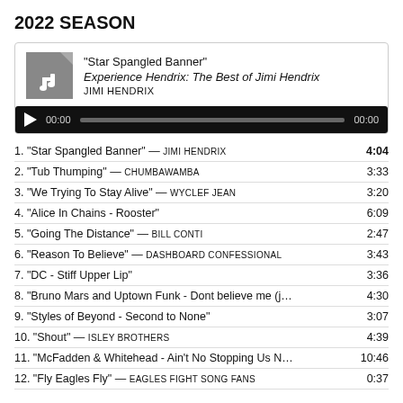2022 SEASON
[Figure (other): Music player card showing album art icon, track title 'Star Spangled Banner', album 'Experience Hendrix: The Best of Jimi Hendrix', artist JIMI HENDRIX, and an audio playback bar with play button, 00:00 timestamps, and progress bar.]
1. "Star Spangled Banner" — JIMI HENDRIX  4:04
2. "Tub Thumping" — CHUMBAWAMBA  3:33
3. "We Trying To Stay Alive" — WYCLEF JEAN  3:20
4. "Alice In Chains - Rooster"  6:09
5. "Going The Distance" — BILL CONTI  2:47
6. "Reason To Believe" — DASHBOARD CONFESSIONAL  3:43
7. "DC - Stiff Upper Lip"  3:36
8. "Bruno Mars and Uptown Funk - Dont believe me (j...  4:30
9. "Styles of Beyond - Second to None"  3:07
10. "Shout" — ISLEY BROTHERS  4:39
11. "McFadden & Whitehead - Ain't No Stopping Us N...  10:46
12. "Fly Eagles Fly" — EAGLES FIGHT SONG FANS  0:37